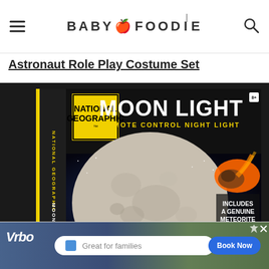BABY FOODIE
Astronaut Role Play Costume Set
[Figure (photo): National Geographic Moon Light Remote Control Night Light product box. The box is black with a yellow National Geographic border square logo on the left, large white text reading MOON LIGHT and yellow text reading REMOTE CONTROL NIGHT LIGHT. The center shows a realistic image of the moon surface. The right side shows a meteor/fireball and text: INCLUDES A GENUINE METEORITE FROM SPACE!, Glow-in-the-dark remote control, AC adapter for all]
[Figure (screenshot): Vrbo advertisement banner showing mountain bikers on a trail with text Great for families and a Book Now button]